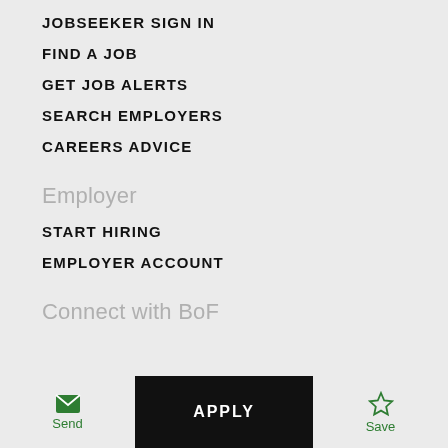JOBSEEKER SIGN IN
FIND A JOB
GET JOB ALERTS
SEARCH EMPLOYERS
CAREERS ADVICE
Employer
START HIRING
EMPLOYER ACCOUNT
Connect with BoF
Send   APPLY   Save